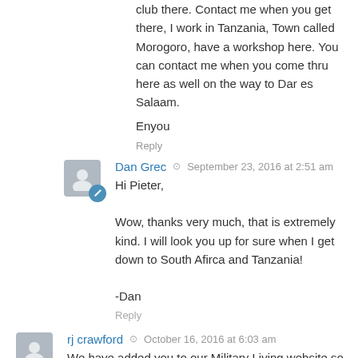club there. Contact me when you get there, I work in Tanzania, Town called Morogoro, have a workshop here. You can contact me when you come thru here as well on the way to Dar es Salaam.
Enyou
Reply
Dan Grec  ·  September 23, 2016 at 2:51 am
Hi Pieter,

Wow, thanks very much, that is extremely kind. I will look you up for sure when I get down to South Afirca and Tanzania!

-Dan
Reply
rj crawford  ·  October 16, 2016 at 6:03 am
We have added you to our Military Living website so our readers can follow your blog. I also teach a blogging class to a group of girls in Kampala Uganda, they would like to invite you to dinner so they can hear about your trip. Regards
RJ Crawford President Military Living
https://militaryliving.com/7577-2/